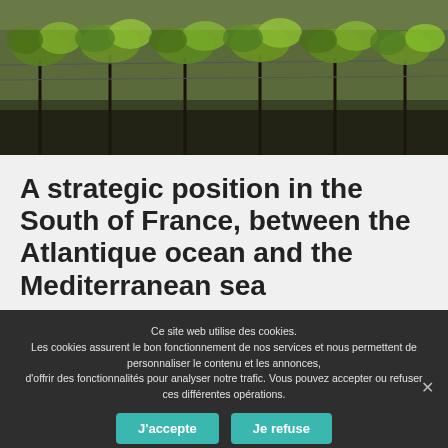[Figure (photo): Photograph of vineyard rows with green leaves in sunlight, dark background tones]
A strategic position in the South of France, between the Atlantique ocean and the Mediterranean sea
Ce site web utilise des cookies.
Les cookies assurent le bon fonctionnement de nos services et nous permettent de personnaliser le contenu et les annonces, d'offrir des fonctionnalités pour analyser notre trafic. Vous pouvez accepter ou refuser ces différentes opérations.